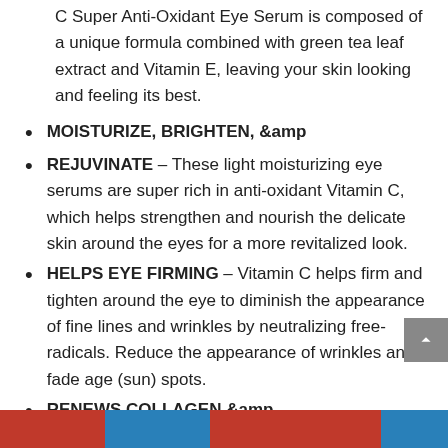C Super Anti-Oxidant Eye Serum is composed of a unique formula combined with green tea leaf extract and Vitamin E, leaving your skin looking and feeling its best.
MOISTURIZE, BRIGHTEN, &amp
REJUVINATE – These light moisturizing eye serums are super rich in anti-oxidant Vitamin C, which helps strengthen and nourish the delicate skin around the eyes for a more revitalized look.
HELPS EYE FIRMING – Vitamin C helps firm and tighten around the eye to diminish the appearance of fine lines and wrinkles by neutralizing free-radicals. Reduce the appearance of wrinkles and fade age (sun) spots.
RENEWS COLLAGEN &amp
ELASTIN – Contains essential minerals to